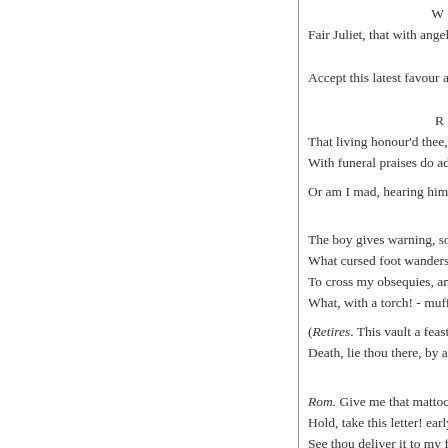W
Fair Juliet, that with angels

Accept this latest favour at

R
That living honour'd thee, a
With funeral praises do ado

Or am I mad, hearing him tal

The boy gives warning, so
What cursed foot wanders
To cross my obsequies, and
What, with a torch! - muffl

(Retires. This vault a feasting
Death, lie thou there, by a dead

Rom. Give me that mattock
Hold, take this letter! early
See thou deliver it to my f